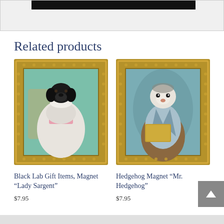[Figure (photo): Top portion of a product image partially visible — dark/black rectangular image area at top of page]
Related products
[Figure (photo): Framed painting of a black Labrador dog dressed as a Victorian lady in a white dress with pink sash, sitting in a chair. Gold ornate frame.]
[Figure (photo): Framed painting of a hedgehog dressed as an 18th century gentleman in a light blue coat, carrying a book. Gold ornate frame.]
Black Lab Gift Items, Magnet “Lady Sargent”
$7.95
Hedgehog Magnet “Mr. Hedgehog”
$7.95